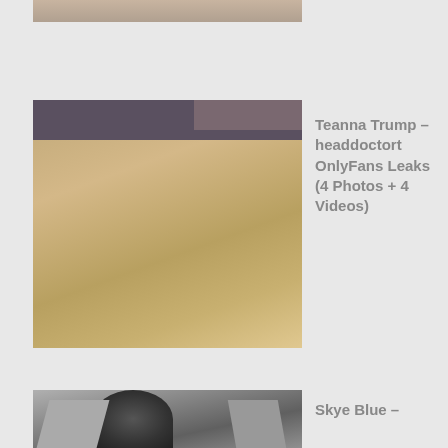[Figure (photo): Partial top image visible at top of page]
[Figure (photo): Full body photo of person standing]
Teanna Trump – headdoctort OnlyFans Leaks (4 Photos + 4 Videos)
[Figure (photo): Black and white partial photo at bottom]
Skye Blue –